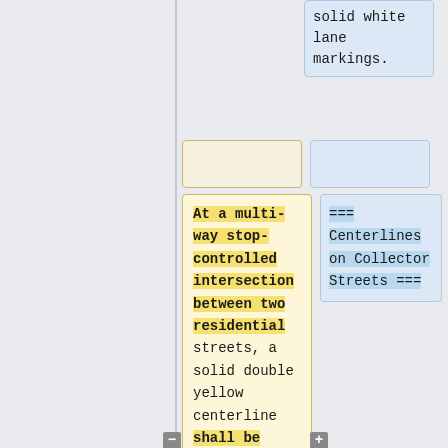solid white lane markings.
At a multi-way stop-controlled intersection between two residential streets, a solid double yellow centerline shall be installed starting a minimum of 50' in
=== Centerlines on Collector Streets ===